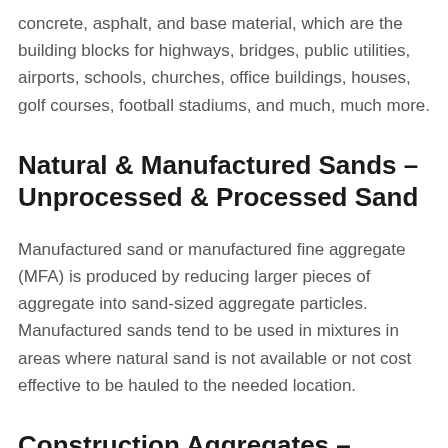concrete, asphalt, and base material, which are the building blocks for highways, bridges, public utilities, airports, schools, churches, office buildings, houses, golf courses, football stadiums, and much, much more.
Natural & Manufactured Sands – Unprocessed & Processed Sand
Manufactured sand or manufactured fine aggregate (MFA) is produced by reducing larger pieces of aggregate into sand-sized aggregate particles. Manufactured sands tend to be used in mixtures in areas where natural sand is not available or not cost effective to be hauled to the needed location.
Construction Aggregates – Nugent